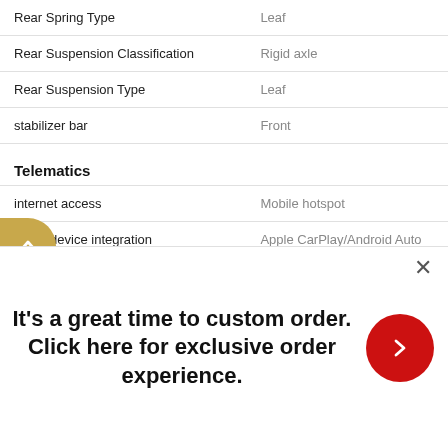| Feature | Value |
| --- | --- |
| Rear Spring Type | Leaf |
| Rear Suspension Classification | Rigid axle |
| Rear Suspension Type | Leaf |
| stabilizer bar | Front |
| Telematics |  |
| internet access | Mobile hotspot |
| smart device integration | Apple CarPlay/Android Auto |
| wireless phone connectivity | Bluetooth |
| Tires |  |
It's a great time to custom order. Click here for exclusive order experience.